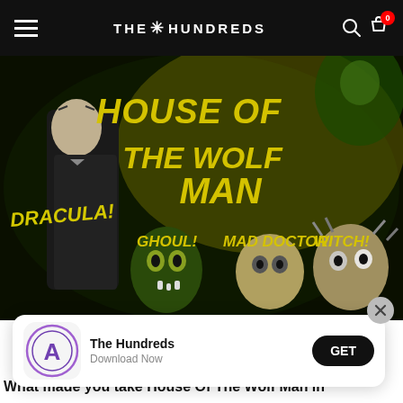THE HUNDREDS
[Figure (photo): Movie poster for 'House of the Wolf Man' featuring horror monsters including Dracula, a Ghoul, Mad Doctor, and Witch on a dark background with yellow-green text. Text on poster: HOUSE OF THE WOLF MAN, DRACULA!, GHOUL!, MAD DOCTOR!, WITCH!]
[Figure (infographic): App download banner with Apple App Store icon for 'The Hundreds' app, text 'The Hundreds / Download Now', and a black GET button. Close X button in top-right corner.]
What made you take House Of The Wolf Man in